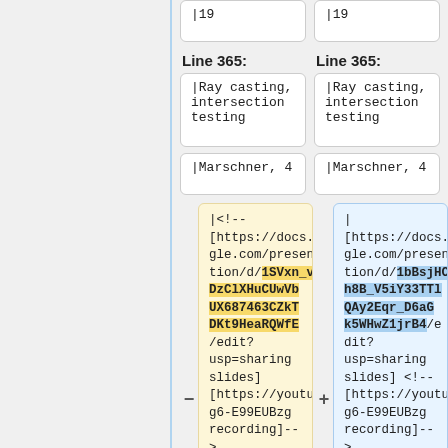|19
|19
Line 365:
Line 365:
|Ray casting, intersection testing
|Ray casting, intersection testing
|Marschner, 4
|Marschner, 4
|<!-- [https://docs.google.com/presentation/d/1SVxn_vdDzClXHuCUwVbUX687463CZkTDKt9HeaRQWfE/edit?usp=sharing slides] [https://youtu.be/g6-E99EUBzg recording]-->
| [https://docs.google.com/presentation/d/1bBsjHCeh8B_V5iY33TTlQAy2Eqr_D6aGk5WHwZ1jrB4/edit?usp=sharing slides] <!-- [https://youtu.be/g6-E99EUBzg recording]-->